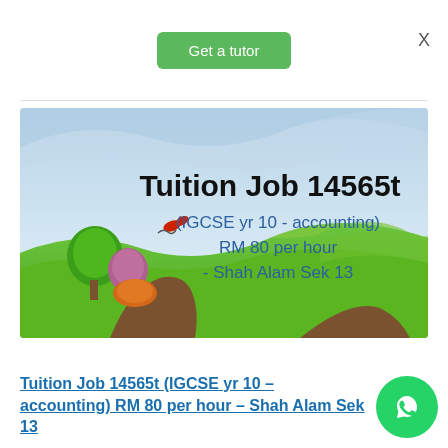Get a tutor
X
[Figure (illustration): Tuition job advertisement banner with illustrated landscape (green hills, trees, sky). Text reads: Tuition Job 14565t (IGCSE yr 10 - accounting) RM 80 per hour - Shah Alam Sek 13]
Tuition Job 14565t (IGCSE yr 10 – accounting) RM 80 per hour – Shah Alam Sek 13